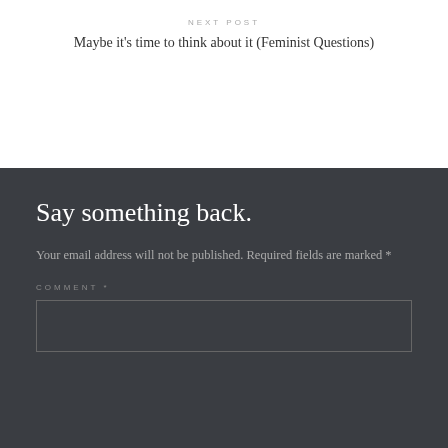NEXT POST
Maybe it's time to think about it (Feminist Questions)
Say something back.
Your email address will not be published. Required fields are marked *
COMMENT *